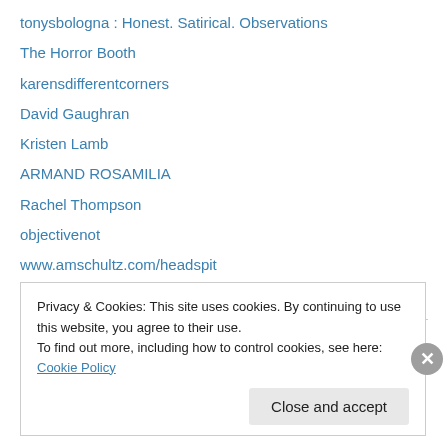tonysbologna : Honest. Satirical. Observations
The Horror Booth
karensdifferentcorners
David Gaughran
Kristen Lamb
ARMAND ROSAMILIA
Rachel Thompson
objectivenot
www.amschultz.com/headspit
nettiethomson.com
Privacy & Cookies: This site uses cookies. By continuing to use this website, you agree to their use.
To find out more, including how to control cookies, see here: Cookie Policy
Close and accept